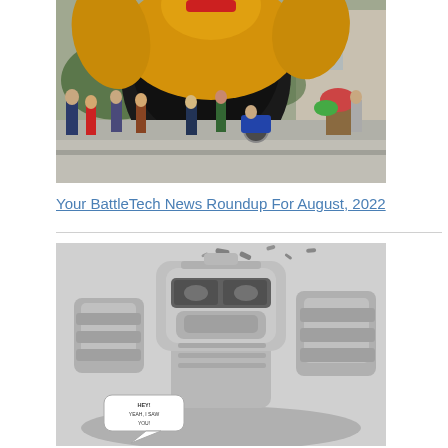[Figure (photo): Outdoor photo showing a large inflatable robot/mech figure (yellow and black) at a public event, with a crowd of people and buildings visible in the background on a city street.]
Your BattleTech News Roundup For August, 2022
[Figure (illustration): Black and white illustration of a BattleTech mech robot, showing the upper body and head with mechanical details. A speech bubble at the bottom left reads 'HEY! YEAH, I SAW YOU!']